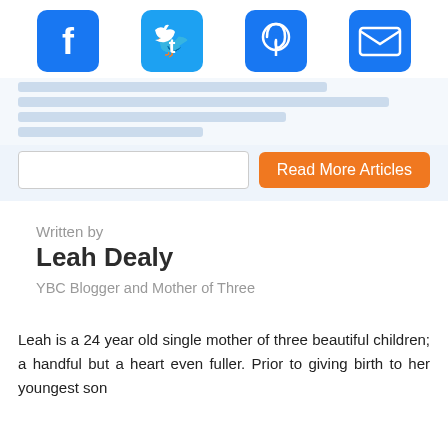[Figure (other): Social media share icons: Facebook, Twitter, Pinterest, Email — blue rounded square buttons]
Written by
Leah Dealy
YBC Blogger and Mother of Three
Leah is a 24 year old single mother of three beautiful children; a handful but a heart even fuller. Prior to giving birth to her youngest son